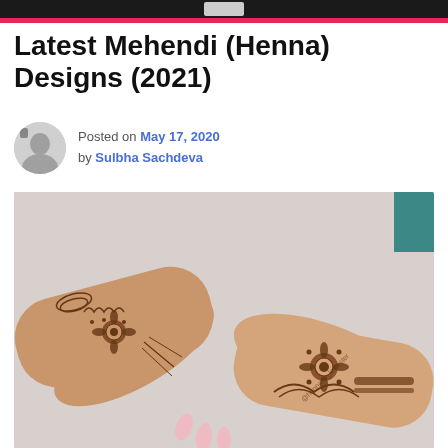Latest Mehendi (Henna) Designs (2021)
Posted on May 17, 2020 by Sulbha Sachdeva
[Figure (photo): Two hands with intricate brown henna/mehendi designs on a fluffy light gray/white background. The designs feature detailed floral and geometric patterns covering the back of both hands and wrists.]